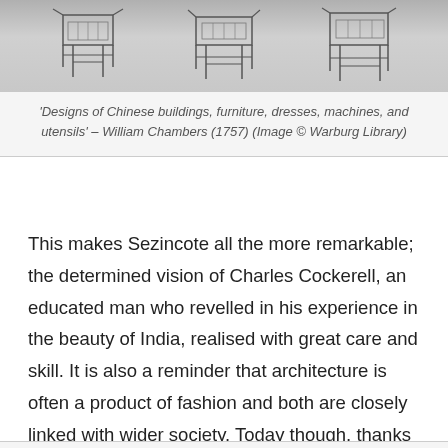[Figure (illustration): Sketches of Chinese furniture pieces (chairs/tables) from William Chambers 1757 publication, shown in grayscale pencil drawing style]
'Designs of Chinese buildings, furniture, dresses, machines, and utensils' – William Chambers (1757) (Image © Warburg Library)
This makes Sezincote all the more remarkable; the determined vision of Charles Cockerell, an educated man who revelled in his experience in the beauty of India, realised with great care and skill. It is also a reminder that architecture is often a product of fashion and both are closely linked with wider society. Today though, thanks to the loving restoration of the Kleinwort family, who bought the estate in 1944, both the house and gardens have been restored back to their former glory; a vision of India, unique in the UK.